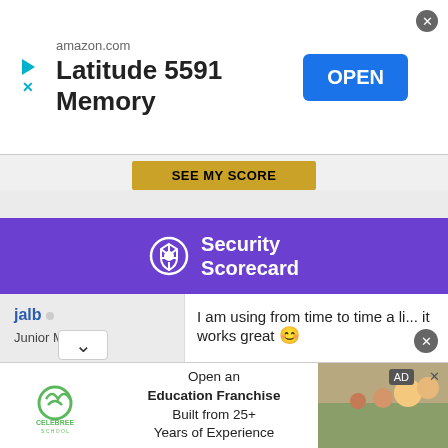[Figure (screenshot): Amazon.com app advertisement banner with 'Latitude 5591 Memory' text and blue OPEN button]
[Figure (screenshot): SEE MY SCORE button on golden background]
[Figure (logo): Security Scorecard logo on purple background]
jalb ○
Junior Member
Join Date: Jan 2015
Posts: 27
I am using from time to time a li... it works great 😊
01-27-2015, 06:42 PM
utu ○
Originally Posted by ja...
[Figure (screenshot): Celebree School advertisement: Open an Education Franchise Built from 25+ Years of Experience]